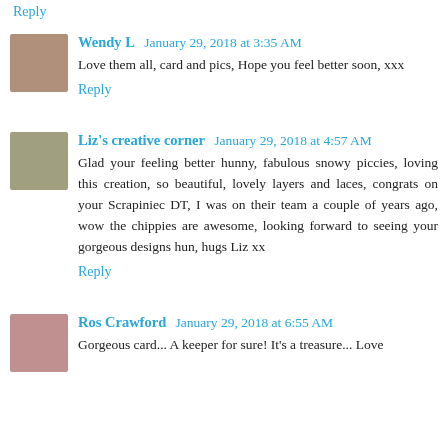Reply
Wendy L  January 29, 2018 at 3:35 AM
Love them all, card and pics, Hope you feel better soon, xxx
Reply
Liz's creative corner  January 29, 2018 at 4:57 AM
Glad your feeling better hunny, fabulous snowy piccies, loving this creation, so beautiful, lovely layers and laces, congrats on your Scrapiniec DT, I was on their team a couple of years ago, wow the chippies are awesome, looking forward to seeing your gorgeous designs hun, hugs Liz xx
Reply
Ros Crawford  January 29, 2018 at 6:55 AM
Gorgeous card... A keeper for sure! It's a treasure... Love